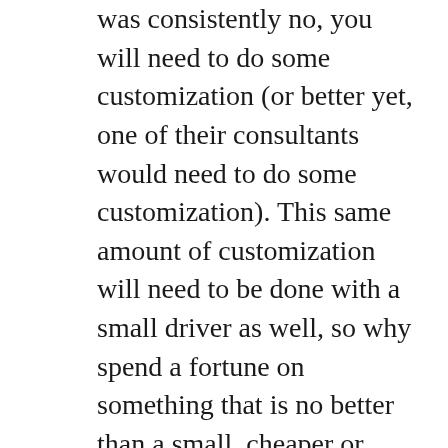was consistently no, you will need to do some customization (or better yet, one of their consultants would need to do some customization). This same amount of customization will need to be done with a small driver as well, so why spend a fortune on something that is no better than a small, cheaper or even free tool?
For the Proof of Concept we decided to take two different drivers: Jagacy and s3270.
Jagacy is in their own words:
"... our award winning 3270 screen-scraping library written entirely in Java. It supports SSL, TN3270E, and over thirty languages. It also includes a 3270 emulator designed to